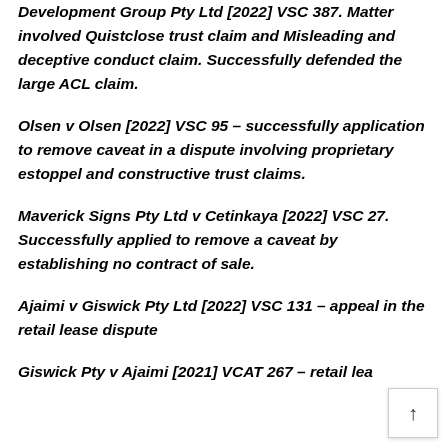Development Group Pty Ltd [2022] VSC 387. Matter involved Quistclose trust claim and Misleading and deceptive conduct claim. Successfully defended the large ACL claim.
Olsen v Olsen [2022] VSC 95 – successfully application to remove caveat in a dispute involving proprietary estoppel and constructive trust claims.
Maverick Signs Pty Ltd v Cetinkaya [2022] VSC 27. Successfully applied to remove a caveat by establishing no contract of sale.
Ajaimi v Giswick Pty Ltd [2022] VSC 131 – appeal in the retail lease dispute
Giswick Pty v Ajaimi [2021] VCAT 267 – retail lea...